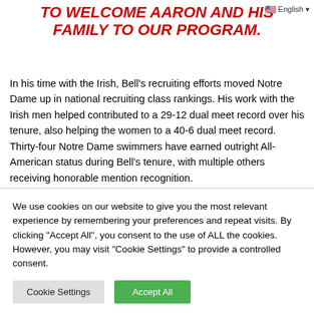TO WELCOME AARON AND HIS FAMILY TO OUR PROGRAM.
In his time with the Irish, Bell's recruiting efforts moved Notre Dame up in national recruiting class rankings. His work with the Irish men helped contributed to a 29-12 dual meet record over his tenure, also helping the women to a 40-6 dual meet record. Thirty-four Notre Dame swimmers have earned outright All-American status during Bell's tenure, with multiple others receiving honorable mention recognition.
We use cookies on our website to give you the most relevant experience by remembering your preferences and repeat visits. By clicking "Accept All", you consent to the use of ALL the cookies. However, you may visit "Cookie Settings" to provide a controlled consent.